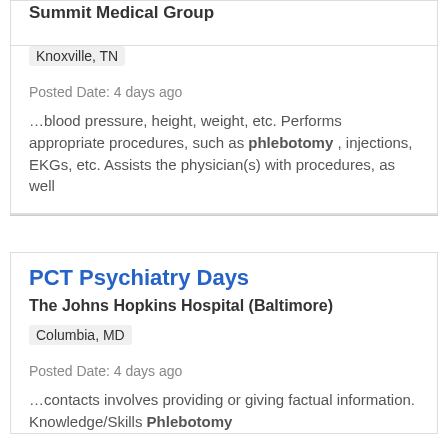Summit Medical Group
Knoxville, TN
Posted Date: 4 days ago
…blood pressure, height, weight, etc. Performs appropriate procedures, such as phlebotomy , injections, EKGs, etc. Assists the physician(s) with procedures, as well
PCT Psychiatry Days
The Johns Hopkins Hospital (Baltimore)
Columbia, MD
Posted Date: 4 days ago
…contacts involves providing or giving factual information. Knowledge/Skills Phlebotomy